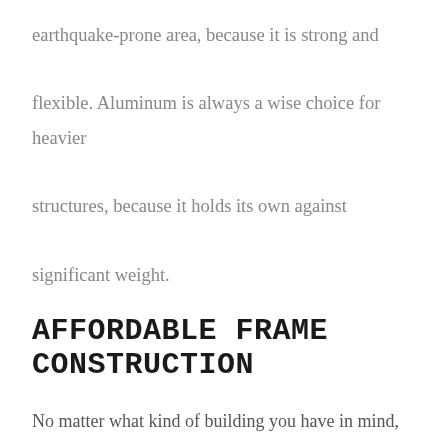earthquake-prone area, because it is strong and flexible. Aluminum is always a wise choice for heavier structures, because it holds its own against significant weight.
AFFORDABLE FRAME CONSTRUCTION
No matter what kind of building you have in mind, you don't want to have to constantly think about whether or not it's sturdy enough, and with a frame from Rager Construction LLC, you won't have to.